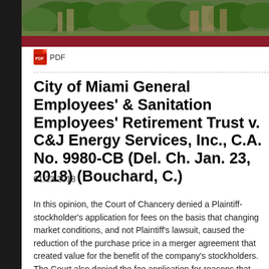[Figure (photo): Header image showing a building exterior with trees and architecture, with a dark red/maroon bar below]
PDF
City of Miami General Employees' & Sanitation Employees' Retirement Trust v. C&J Energy Services, Inc., C.A. No. 9980-CB (Del. Ch. Jan. 23, 2018) (Bouchard, C.)
01.23.2018
In this opinion, the Court of Chancery denied a Plaintiff-stockholder's application for fees on the basis that changing market conditions, and not Plaintiff's lawsuit, caused the reduction of the purchase price in a merger agreement that created value for the benefit of the company's stockholders.  The Court also denied the fee application for reasons that Plaintiff had failed to preserve its fee claim in the settlement agreement and because it would be inequitable, unprecedented, and inco